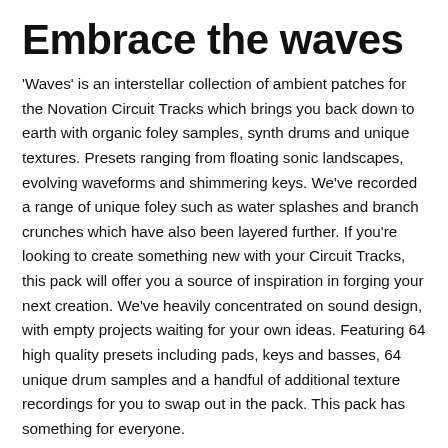Embrace the waves
'Waves' is an interstellar collection of ambient patches for the Novation Circuit Tracks which brings you back down to earth with organic foley samples, synth drums and unique textures. Presets ranging from floating sonic landscapes, evolving waveforms and shimmering keys. We've recorded a range of unique foley such as water splashes and branch crunches which have also been layered further. If you're looking to create something new with your Circuit Tracks, this pack will offer you a source of inspiration in forging your next creation. We've heavily concentrated on sound design, with empty projects waiting for your own ideas. Featuring 64 high quality presets including pads, keys and basses, 64 unique drum samples and a handful of additional texture recordings for you to swap out in the pack. This pack has something for everyone.
Please note that this pack is compatible with the Novation Circuit Tracks only. Not compatible with the original Novation Circuit.